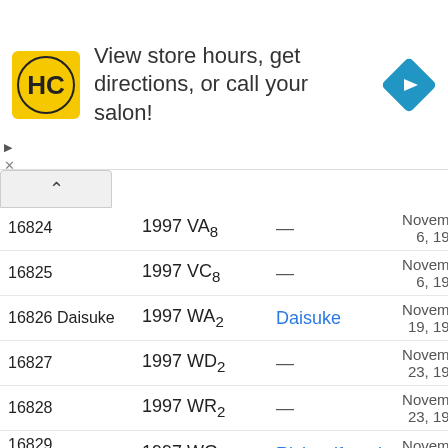[Figure (infographic): Advertisement banner for Hair Club salon with HC logo, text 'View store hours, get directions, or call your salon!' and a navigation/directions icon (blue diamond with arrow).]
| Number | Designation | Named after | Date |
| --- | --- | --- | --- |
| 16824 | 1997 VA₈ | — | November 6, 1997 |
| 16825 | 1997 VC₈ | — | November 6, 1997 |
| 16826 Daisuke | 1997 WA₂ | Daisuke | November 19, 1997 |
| 16827 | 1997 WD₂ | — | November 23, 1997 |
| 16828 | 1997 WR₂ | — | November 23, 1997 |
| 16829 Richardfrench | 1997 WG₇ | Richardfrench | November 24, 1997 |
| 16830 | 1997 WQ₇ | — | November 19, 1997 |
| 16831 | 1997 WM₂₁ | — | November 30, 1997 |
| 16832 | 1997 WR₂₁ | — | November 30, 1997 |